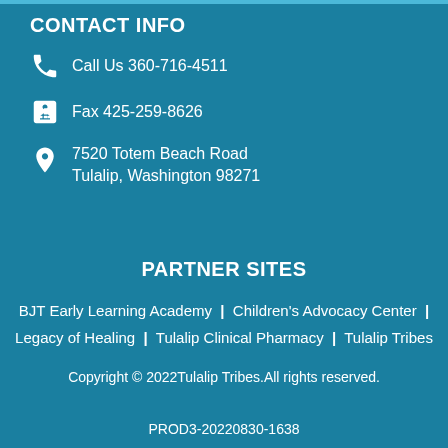CONTACT INFO
Call Us 360-716-4511
Fax 425-259-8626
7520 Totem Beach Road
Tulalip, Washington 98271
PARTNER SITES
BJT Early Learning Academy | Children's Advocacy Center | Legacy of Healing | Tulalip Clinical Pharmacy | Tulalip Tribes
Copyright © 2022Tulalip Tribes.All rights reserved.
PROD3-20220830-1638